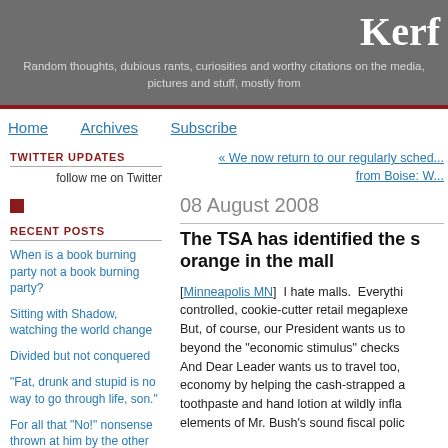Kerf...
Random thoughts, dubious rants, curiosities and worthy citations on the media, pictures and stuff, mostly from...
Home   Archives   Subscribe
TWITTER UPDATES
follow me on Twitter
RECENT POSTS
When is a book burning party not a book burning party?
Sitting with Shadow, watching the world change
Divided but not conquered
"Fat, drunk and stupid is no way to go through life, son."
For all that "No!" nonsense thrown at him by the other guys, President...
« We now return to our regularly scheduled... from Boise: W...
08 August 2008
The TSA has identified the s... orange in the mall
[Minneapolis MN]  I hate malls.  Everything controlled, cookie-cutter retail megaplexe... But, of course, our President wants us to... beyond the "economic stimulus" checks... And Dear Leader wants us to travel too,... economy by helping the cash-strapped a... toothpaste and hand lotion at wildly infla... elements of Mr. Bush's sound fiscal polic...